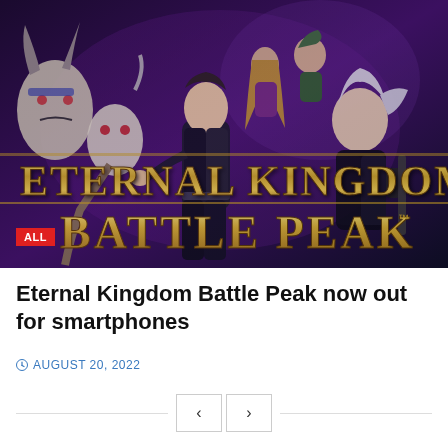[Figure (illustration): Game art for Eternal Kingdom Battle Peak showing fantasy warriors and demons in action poses, with gold stylized title text 'Eternal Kingdom Battle Peak™' on a dark purple/blue background]
Eternal Kingdom Battle Peak now out for smartphones
AUGUST 20, 2022